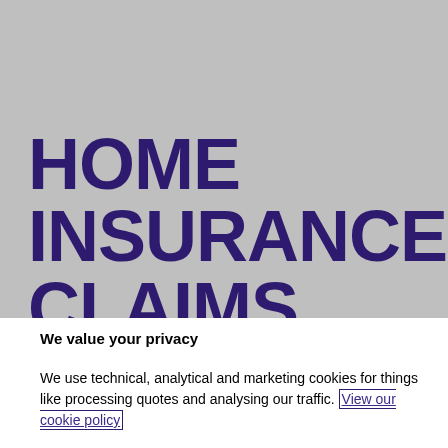HOME INSURANCE CLAIMS
We value your privacy
We use technical, analytical and marketing cookies for things like processing quotes and analysing our traffic. View our cookie policy